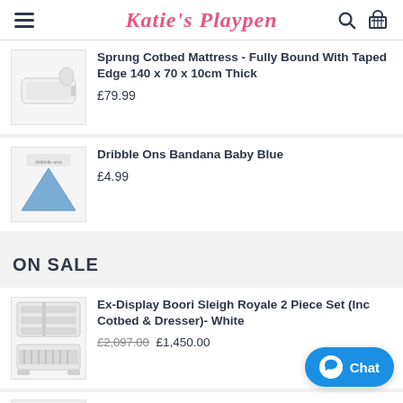Katie's Playpen
[Figure (photo): Sprung cotbed mattress product image - white mattress on light background]
Sprung Cotbed Mattress - Fully Bound With Taped Edge 140 x 70 x 10cm Thick
£79.99
[Figure (photo): Dribble Ons Bandana Baby Blue - blue triangular bandana bib with logo]
Dribble Ons Bandana Baby Blue
£4.99
ON SALE
[Figure (photo): Ex-Display Boori Sleigh Royale 2 Piece Set - white dresser and white cotbed]
Ex-Display Boori Sleigh Royale 2 Piece Set (Inc Cotbed & Dresser)- White
£2,097.00 £1,450.00
Ex-Display Boori 3 Drawer